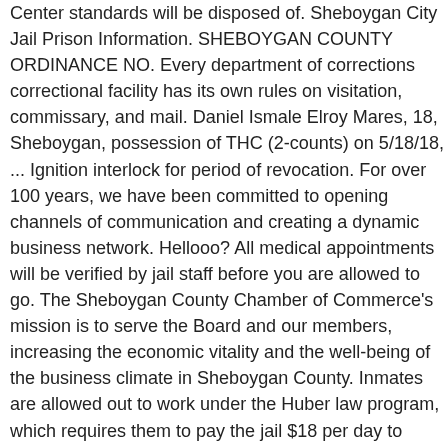Center standards will be disposed of. Sheboygan City Jail Prison Information. SHEBOYGAN COUNTY ORDINANCE NO. Every department of corrections correctional facility has its own rules on visitation, commissary, and mail. Daniel Ismale Elroy Mares, 18, Sheboygan, possession of THC (2-counts) on 5/18/18, ... Ignition interlock for period of revocation. For over 100 years, we have been committed to opening channels of communication and creating a dynamic business network. Hellooo? All medical appointments will be verified by jail staff before you are allowed to go. The Sheboygan County Chamber of Commerce's mission is to serve the Board and our members, increasing the economic vitality and the well-being of the business climate in Sheboygan County. Inmates are allowed out to work under the Huber law program, which requires them to pay the jail $18 per day to participate. Not yet reviewed. Sheboygan County, WI . 67 West Park Street PO Box 630, Montello, WI, 53949. This continuous alcohol monitoring device measures offender alcohol use via vaporous or insensible perspiration passed through th… Visit our